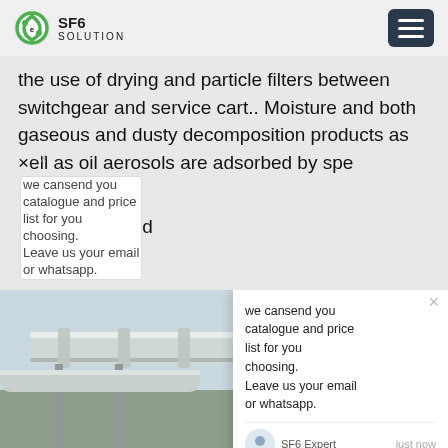SF6 SOLUTION
the use of drying and particle filters between switchgear and service cart.. Moisture and both gaseous and dusty decomposition products as well as oil aerosols are adsorbed by spe[cial filters an]d
[Figure (photo): Workers in blue overalls and hard hats working on large industrial gas-insulated switchgear (GIS) pipes and equipment on an outdoor substation platform. SF6 gas service equipment visible in the foreground. A chat popup overlay appears over the right portion of the image with message: 'we can send you catalogue and price list for you choosing. Leave us your email or whatsapp.' Signed by SF6 Expert, just now.]